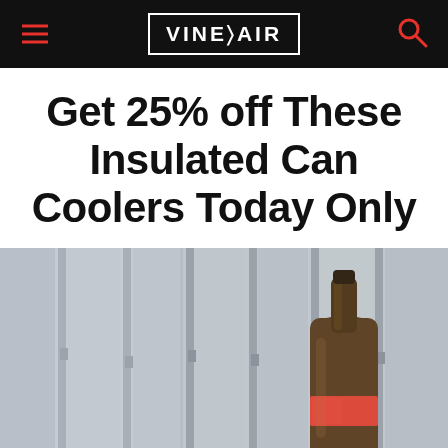VINEPAIR
Get 25% off These Insulated Can Coolers Today Only
[Figure (photo): A brown glass beer bottle with a red label band, positioned in front of a blurred gray wooden slatted chair or fence background.]